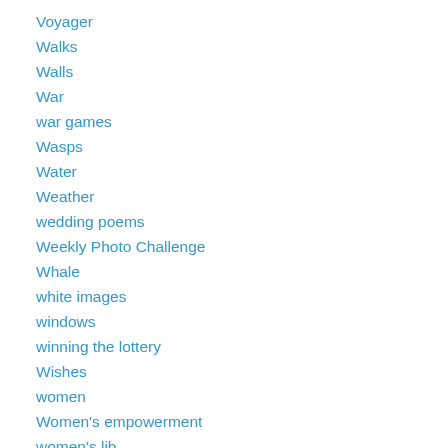Voyager
Walks
Walls
War
war games
Wasps
Water
Weather
wedding poems
Weekly Photo Challenge
Whale
white images
windows
winning the lottery
Wishes
women
Women's empowerment
women's lib
Woodstock
Wordpress Daily Prompt